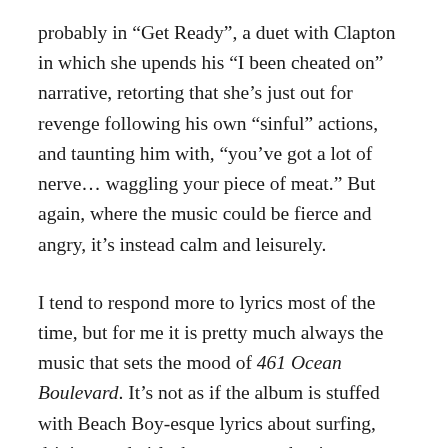probably in “Get Ready”, a duet with Clapton in which she upends his “I been cheated on” narrative, retorting that she’s just out for revenge following his own “sinful” actions, and taunting him with, “you’ve got a lot of nerve… waggling your piece of meat.” But again, where the music could be fierce and angry, it’s instead calm and leisurely.
I tend to respond more to lyrics most of the time, but for me it is pretty much always the music that sets the mood of 461 Ocean Boulevard. It’s not as if the album is stuffed with Beach Boy-esque lyrics about surfing, driving, and girls, but every track mixes warm instrumentation, relaxed vocals, and expansive rhythms to encompass every good mood, even when those